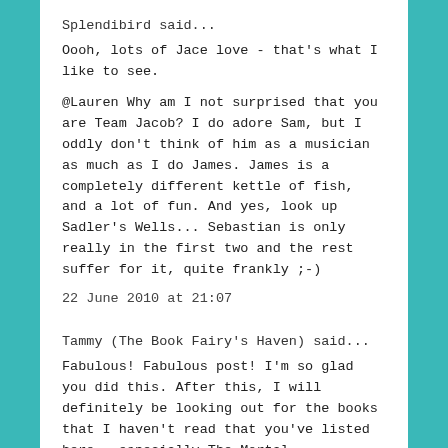Splendibird said...
Oooh, lots of Jace love - that's what I like to see.
@Lauren Why am I not surprised that you are Team Jacob? I do adore Sam, but I oddly don't think of him as a musician as much as I do James. James is a completely different kettle of fish, and a lot of fun. And yes, look up Sadler's Wells... Sebastian is only really in the first two and the rest suffer for it, quite frankly ;-)
22 June 2010 at 21:07
Tammy (The Book Fairy's Haven) said...
Fabulous! Fabulous post! I'm so glad you did this. After this, I will definitely be looking out for the books that I haven't read that you've listed here - especially The Mortal Instruments,